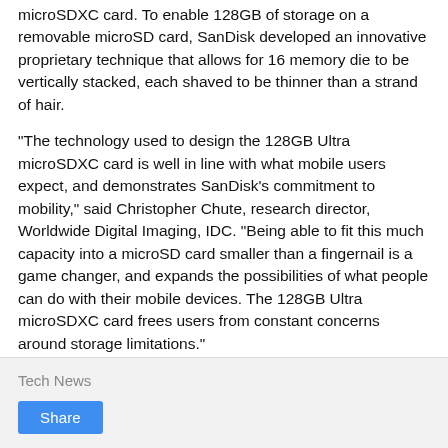microSDXC card. To enable 128GB of storage on a removable microSD card, SanDisk developed an innovative proprietary technique that allows for 16 memory die to be vertically stacked, each shaved to be thinner than a strand of hair.
"The technology used to design the 128GB Ultra microSDXC card is well in line with what mobile users expect, and demonstrates SanDisk's commitment to mobility," said Christopher Chute, research director, Worldwide Digital Imaging, IDC. "Being able to fit this much capacity into a microSD card smaller than a fingernail is a game changer, and expands the possibilities of what people can do with their mobile devices. The 128GB Ultra microSDXC card frees users from constant concerns around storage limitations."
Tech News
Share